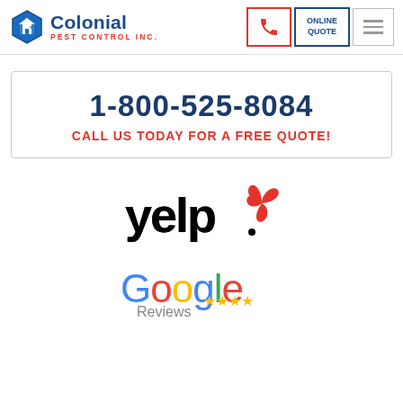[Figure (logo): Colonial Pest Control Inc. logo with hexagon icon and company name]
[Figure (other): Navigation buttons: phone icon (red border), ONLINE QUOTE (blue border), hamburger menu]
1-800-525-8084
CALL US TODAY FOR A FREE QUOTE!
[Figure (logo): Yelp logo with red burst/asterisk mark]
[Figure (logo): Google Reviews logo with star ratings]